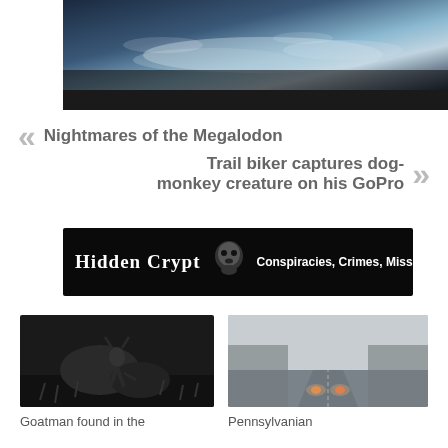[Figure (photo): Dark nighttime or deep sea image with blue-grey tones, black bar below]
« Nightmares of the Megalodon
Trail biker captures dog-monkey creature on his GoPro »
[Figure (illustration): Hidden Crypt banner: black background with stylized text 'Hidden Crypt', skull image, and subtitle 'Conspiracies, Crimes, Missing People']
[Figure (photo): Grayscale night-vision or trail camera image of a creature silhouette in grass/brush]
Goatman found in the
[Figure (photo): Foggy road at night with headlights in distance, gray overcast sky]
Pennsylvanian